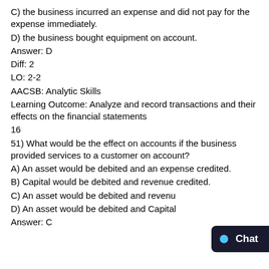C) the business incurred an expense and did not pay for the expense immediately.
D) the business bought equipment on account.
Answer: D
Diff: 2
LO: 2-2
AACSB: Analytic Skills
Learning Outcome: Analyze and record transactions and their effects on the financial statements
16
51) What would be the effect on accounts if the business provided services to a customer on account?
A) An asset would be debited and an expense credited.
B) Capital would be debited and revenue credited.
C) An asset would be debited and revenue credited.
D) An asset would be debited and Capital credited.
Answer: C